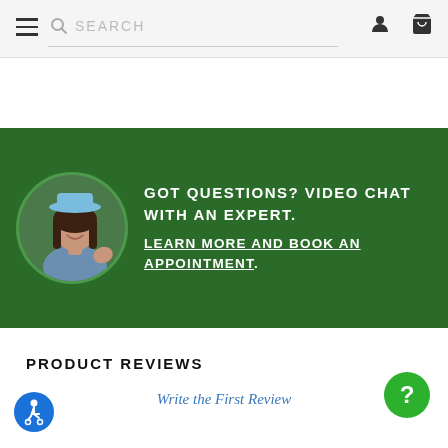SEARCH (navigation bar with hamburger menu, search, user and cart icons)
[Figure (infographic): Green banner with circular photo of a smiling woman in a cap and blue shirt holding up hand sign, with text: GOT QUESTIONS? VIDEO CHAT WITH AN EXPERT. LEARN MORE AND BOOK AN APPOINTMENT.]
PRODUCT REVIEWS
Write the First Review
[Figure (other): Green circular chat bubble with white question mark icon (help widget)]
[Figure (other): Blue circular accessibility icon (wheelchair symbol)]